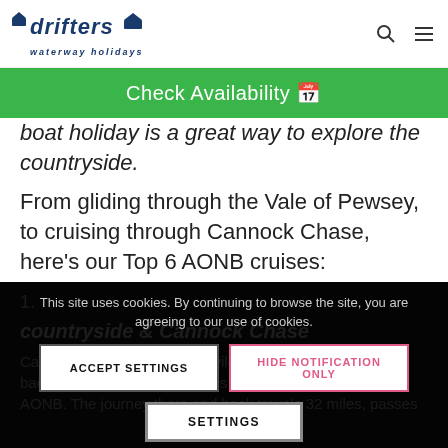Drifters waterway holidays
Check Availability
boat holiday is a great way to explore the countryside.
From gliding through the Vale of Pewsey, to cruising through Cannock Chase, here's our Top 6 AONB cruises:
1. countryside & Cannock Chase
This site uses cookies. By continuing to browse the site, you are agreeing to our use of cookies.
ACCEPT SETTINGS
HIDE NOTIFICATION ONLY
SETTINGS
Canal, you can cruise to the wildlife rich Tixall Wide and back. Along the way you'll pass through Cannock Chase AONB. The journey there and back travels 32 miles, passes